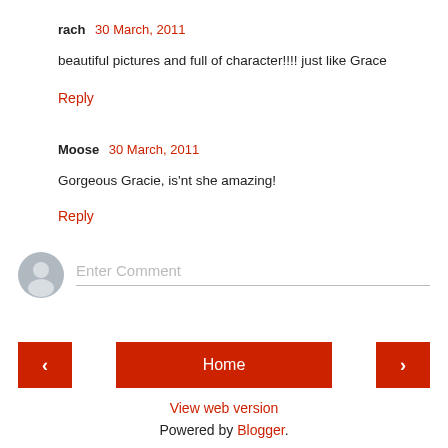rach  30 March, 2011
beautiful pictures and full of character!!!! just like Grace
Reply
Moose  30 March, 2011
Gorgeous Gracie, is'nt she amazing!
Reply
[Figure (other): Avatar placeholder icon for comment entry]
Enter Comment
< (previous) | Home | > (next)
View web version
Powered by Blogger.